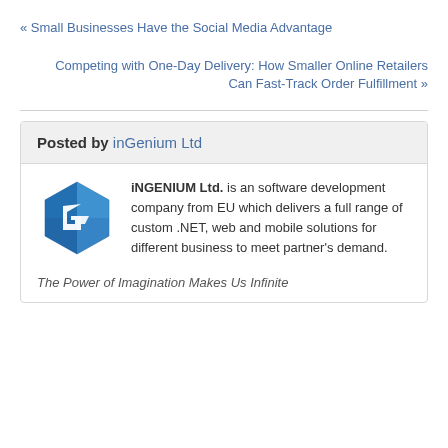« Small Businesses Have the Social Media Advantage
Competing with One-Day Delivery: How Smaller Online Retailers Can Fast-Track Order Fulfillment »
Posted by inGenium Ltd
[Figure (logo): inGENIUM Ltd hexagonal blue logo with a stylized G/arrow shape inside]
iNGENIUM Ltd. is an software development company from EU which delivers a full range of custom .NET, web and mobile solutions for different business to meet partner's demand.
The Power of Imagination Makes Us Infinite